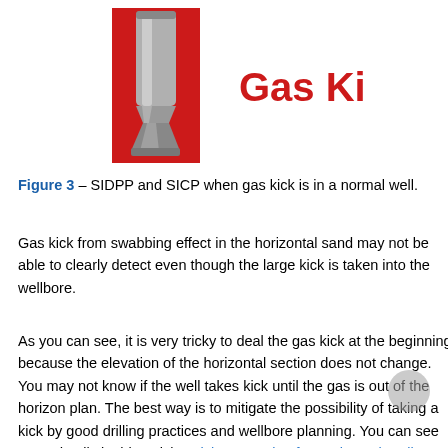[Figure (illustration): Illustration of a drill bit/tool in a red rectangular background with a metallic fitting at the bottom, and the text 'Gas Kick' in red to the right.]
Figure 3 – SIDPP and SICP when gas kick is in a normal well.
Gas kick from swabbing effect in the horizontal sand may not be able to clearly detect even though the large kick is taken into the wellbore.
As you can see, it is very tricky to deal the gas kick at the beginning because the elevation of the horizontal section does not change. You may not know if the well takes kick until the gas is out of the horizon plan. The best way is to mitigate the possibility of taking a kick by good drilling practices and wellbore planning. You can see more details in this article "Kick Prevention for Horizontal Wells" which will go into details on how to prevent the well control in the horizontal wells.